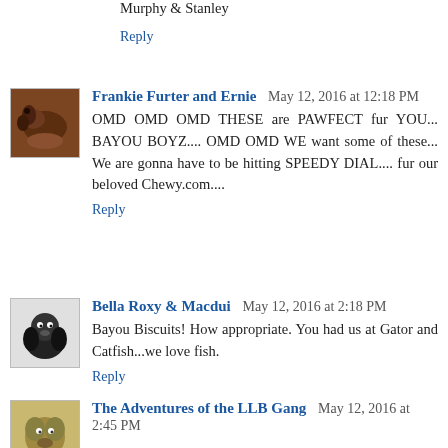Murphy & Stanley
Reply
Frankie Furter and Ernie  May 12, 2016 at 12:18 PM
OMD OMD OMD THESE are PAWFECT fur YOU... BAYOU BOYZ.... OMD OMD WE want some of these... We are gonna have to be hitting SPEEDY DIAL.... fur our beloved Chewy.com....
Reply
Bella Roxy & Macdui  May 12, 2016 at 2:18 PM
Bayou Biscuits! How appropriate. You had us at Gator and Catfish...we love fish.
Reply
The Adventures of the LLB Gang  May 12, 2016 at 2:45 PM